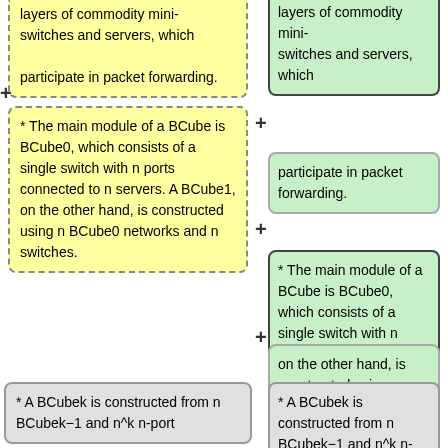layers of commodity mini-switches and servers, which participate in packet forwarding.
* The main module of a BCube is BCube0, which consists of a single switch with n ports connected to n servers. A BCube1, on the other hand, is constructed using n BCube0 networks and n switches.
layers of commodity mini-switches and servers, which
participate in packet forwarding.
* The main module of a BCube is BCube0, which consists of a single switch with n ports connected to n servers. A BCube1,
on the other hand, is constructed using n BCube0 networks and n switches.
* A BCubek is constructed from n BCubek-1 and n^k n-port
* A BCubek is constructed from n BCubek-1 and n^k n-port